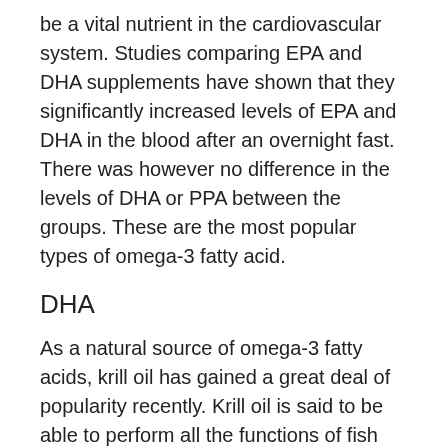be a vital nutrient in the cardiovascular system. Studies comparing EPA and DHA supplements have shown that they significantly increased levels of EPA and DHA in the blood after an overnight fast. There was however no difference in the levels of DHA or PPA between the groups. These are the most popular types of omega-3 fatty acid.
DHA
As a natural source of omega-3 fatty acids, krill oil has gained a great deal of popularity recently. Krill oil is said to be able to perform all the functions of fish oils, plus more. Krill oil is obtained from tiny shrimp-like crustaceans, which feed whales. Krill is a term that means whale food. These tiny crustaceans are found in